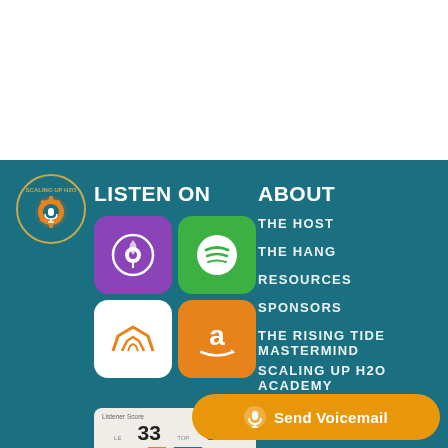[Figure (illustration): White top area of the page (blank)]
[Figure (logo): Scaling Up H2O podcast circular logo with gear and microphone icon, teal/orange colors]
LISTEN ON
ABOUT
[Figure (illustration): 2x2 grid of platform icons: Apple Podcasts (purple), Spotify (green), Audible (white/orange), Amazon (orange)]
[Figure (infographic): Stats widget showing Listener Score: 33, GlobalRank: 5%]
THE HOST
THE HANG
RESOURCES
SPONSORS
THE RISING TIDE MASTERMIND
SCALING UP H2O ACADEMY
DISCLAIMER
[Figure (illustration): Orange Send Voicemail button with microphone icon]